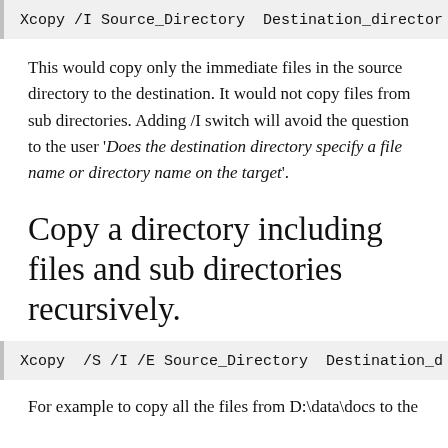Xcopy /I Source_Directory  Destination_director
This would copy only the immediate files in the source directory to the destination. It would not copy files from sub directories. Adding /I switch will avoid the question to the user ‘Does the destination directory specify a file name or directory name on the target’.
Copy a directory including files and sub directories recursively.
Xcopy  /S /I /E Source_Directory  Destination_d
For example to copy all the files from D:\data\docs to the